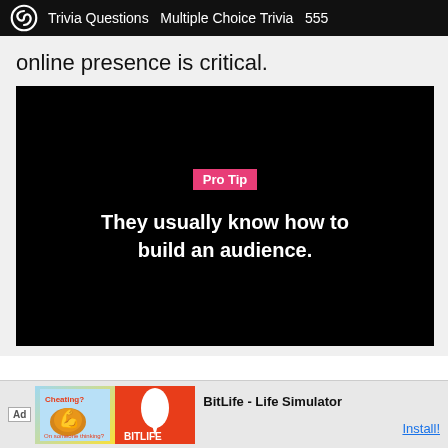Trivia Questions  Multiple Choice Trivia  555
online presence is critical.
[Figure (screenshot): Black video frame showing 'Pro Tip' label in pink/magenta highlight and white bold text: 'They usually know how to build an audience.']
Ad  BitLife - Life Simulator  Install!